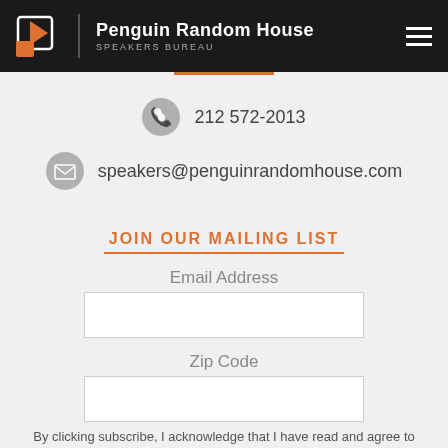Penguin Random House SPEAKERS BUREAU
212 572-2013
speakers@penguinrandomhouse.com
JOIN OUR MAILING LIST
Email Address
Zip Code
SUBSCRIBE
By clicking subscribe, I acknowledge that I have read and agree to